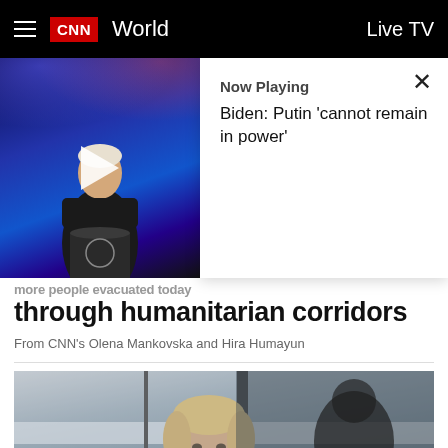CNN World — Live TV
[Figure (screenshot): Video thumbnail showing Biden at podium with play button overlay, beside a Now Playing panel showing 'Biden: Putin cannot remain in power' with close button]
through humanitarian corridors
From CNN's Olena Mankovska and Hira Humayun
[Figure (photo): Person (woman with blonde hair) seen through foggy bus or train window, looking downward with a somber expression]